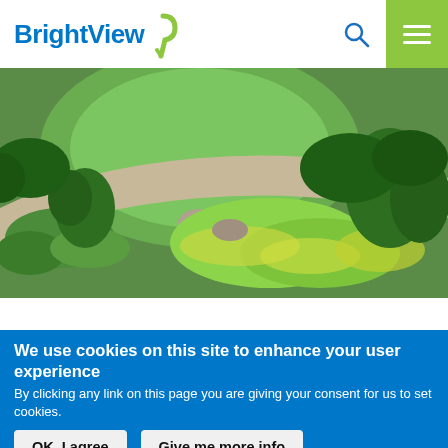[Figure (logo): BrightView logo with green leaf/curl symbol and blue text]
[Figure (photo): Aerial view of a professionally maintained landscape with curved concrete pathway, green lawn circles, shrubs, and yellow wildflowers in Sunrise, FL]
Landscape Maintenance in Sunrise, FL
We use cookies on this site to enhance your user experience
By clicking any link on this page you are giving your consent for us to set cookies.
OK, I agree
Give me more info